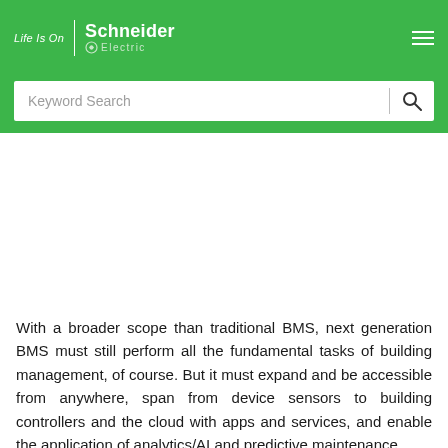Life Is On | Schneider Electric
Keyword Search
With a broader scope than traditional BMS, next generation BMS must still perform all the fundamental tasks of building management, of course. But it must expand and be accessible from anywhere, span from device sensors to building controllers and the cloud with apps and services, and enable the application of analytics/AI and predictive maintenance.